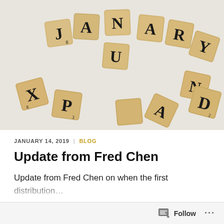[Figure (photo): Scrabble tiles arranged to spell JANUARY on a white surface, with other scattered tiles including X, P, N, A, D]
JANUARY 14, 2019 | BLOG
Update from Fred Chen
Update from Fred Chen on when the first distribution…